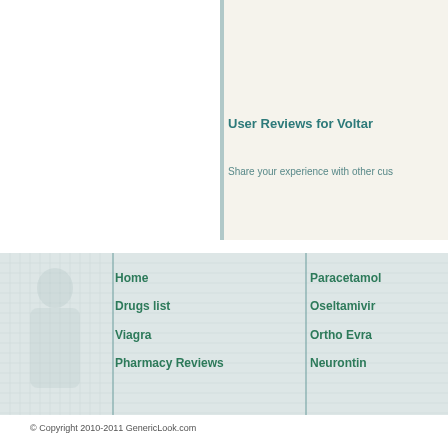User Reviews for Voltar
Share your experience with other cus
Home
Drugs list
Viagra
Pharmacy Reviews
Paracetamol
Oseltamivir
Ortho Evra
Neurontin
© Copyright 2010-2011 GenericLook.com